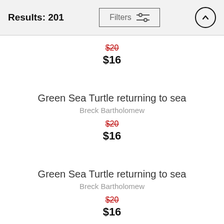Results: 201
$20 (strikethrough), $16
Green Sea Turtle returning to sea
Breck Bartholomew
$20 (strikethrough), $16
Green Sea Turtle returning to sea
Breck Bartholomew
$20 (strikethrough), $16